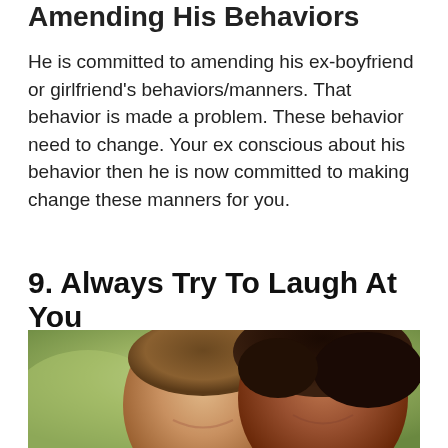Amending His Behaviors
He is committed to amending his ex-boyfriend or girlfriend's behaviors/manners. That behavior is made a problem. These behavior need to change. Your ex conscious about his behavior then he is now committed to making change these manners for you.
9. Always Try To Laugh At You
[Figure (photo): A smiling interracial couple outdoors, the woman with curly hair resting her head on the man's shoulder, both laughing happily with a blurred green background.]